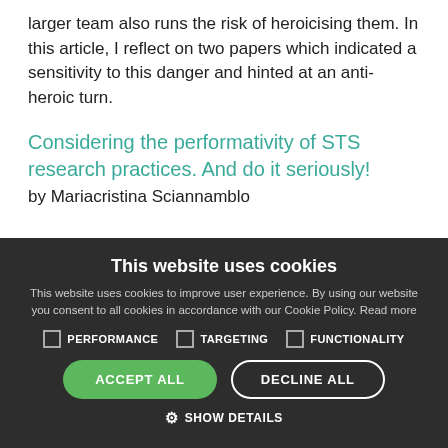larger team also runs the risk of heroicising them. In this article, I reflect on two papers which indicated a sensitivity to this danger and hinted at an anti-heroic turn.
Considering the performativity of STS research practices. And do it seriously!
by Mariacristina Sciannamblo
This website uses cookies
This website uses cookies to improve user experience. By using our website you consent to all cookies in accordance with our Cookie Policy. Read more
PERFORMANCE   TARGETING   FUNCTIONALITY
ACCEPT ALL   DECLINE ALL
SHOW DETAILS